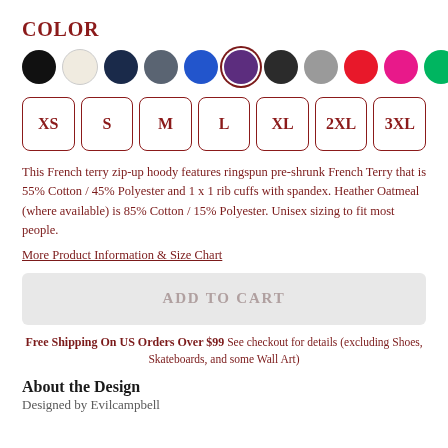COLOR
[Figure (other): Color swatches: black, cream/oatmeal, navy, slate gray, royal blue, purple (selected), charcoal, gray, red, hot pink, green]
[Figure (other): Size selector buttons: XS, S, M, L, XL, 2XL, 3XL]
This French terry zip-up hoody features ringspun pre-shrunk French Terry that is 55% Cotton / 45% Polyester and 1 x 1 rib cuffs with spandex. Heather Oatmeal (where available) is 85% Cotton / 15% Polyester. Unisex sizing to fit most people.
More Product Information & Size Chart
[Figure (other): ADD TO CART button (grayed out)]
Free Shipping On US Orders Over $99 See checkout for details (excluding Shoes, Skateboards, and some Wall Art)
About the Design
Designed by Evilcampbell